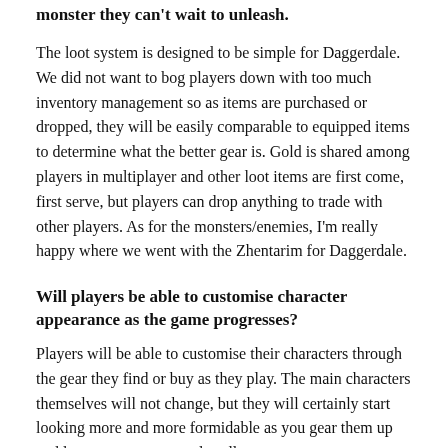monster they can't wait to unleash.
The loot system is designed to be simple for Daggerdale. We did not want to bog players down with too much inventory management so as items are purchased or dropped, they will be easily comparable to equipped items to determine what the better gear is. Gold is shared among players in multiplayer and other loot items are first come, first serve, but players can drop anything to trade with other players. As for the monsters/enemies, I'm really happy where we went with the Zhentarim for Daggerdale.
Will players be able to customise character appearance as the game progresses?
Players will be able to customise their characters through the gear they find or buy as they play. The main characters themselves will not change, but they will certainly start looking more and more formidable as you gear them up and learn new powers and spells.